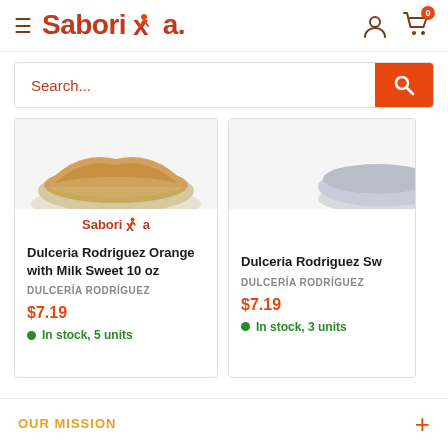Saborixa - navigation header with hamburger menu, logo, user icon, cart icon
Search...
[Figure (screenshot): Product image of Dulceria Rodriguez Orange with Milk Sweet on a plate]
Saborixa
Dulceria Rodriguez Orange with Milk Sweet 10 oz
DULCERÍA RODRÍGUEZ
$7.19
In stock, 5 units
[Figure (screenshot): Partial product image of Dulceria Rodriguez Sweet item on a plate]
Dulceria Rodriguez Sw...
DULCERÍA RODRÍGUEZ
$7.19
In stock, 3 units
OUR MISSION